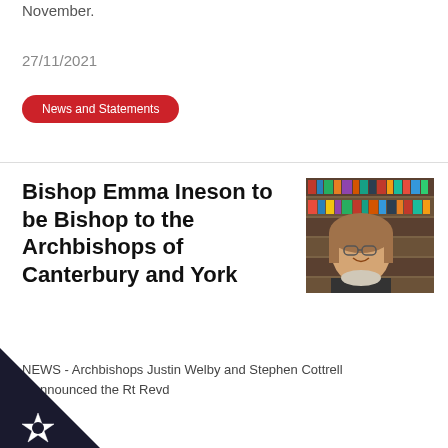November.
27/11/2021
News and Statements
Bishop Emma Ineson to be Bishop to the Archbishops of Canterbury and York
[Figure (photo): Photo of Bishop Emma Ineson standing in front of bookshelves, smiling, wearing glasses and a patterned scarf]
NEWS - Archbishops Justin Welby and Stephen Cottrell e announced the Rt Revd